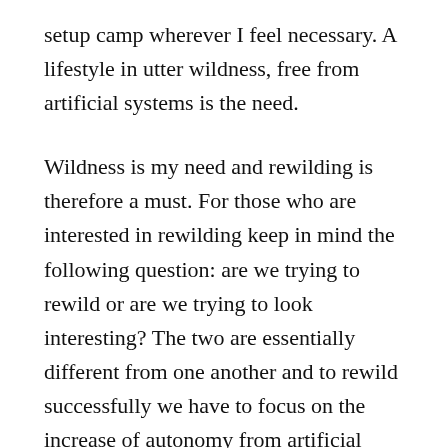setup camp wherever I feel necessary. A lifestyle in utter wildness, free from artificial systems is the need.
Wildness is my need and rewilding is therefore a must. For those who are interested in rewilding keep in mind the following question: are we trying to rewild or are we trying to look interesting? The two are essentially different from one another and to rewild successfully we have to focus on the increase of autonomy from artificial systems.
We can still look cool on social media in one hectare forest and act like we are free from the shackles of civilization, while behind the camera we buy the food in stores and use GPS supported phones to find our way out the one hectare forest, thus in reality we are not